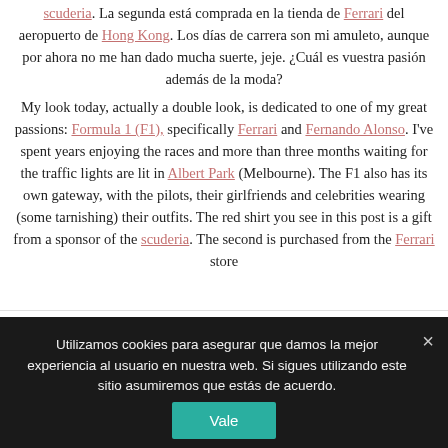scuderia. La segunda está comprada en la tienda de Ferrari del aeropuerto de Hong Kong. Los días de carrera son mi amuleto, aunque por ahora no me han dado mucha suerte, jeje. ¿Cuál es vuestra pasión además de la moda?
My look today, actually a double look, is dedicated to one of my great passions: Formula 1 (F1), specifically Ferrari and Fernando Alonso. I've spent years enjoying the races and more than three months waiting for the traffic lights are lit in Albert Park (Melbourne). The F1 also has its own gateway, with the pilots, their girlfriends and celebrities wearing (some tarnishing) their outfits. The red shirt you see in this post is a gift from a sponsor of the scuderia. The second is purchased from the Ferrari store
Utilizamos cookies para asegurar que damos la mejor experiencia al usuario en nuestra web. Si sigues utilizando este sitio asumiremos que estás de acuerdo.
Vale